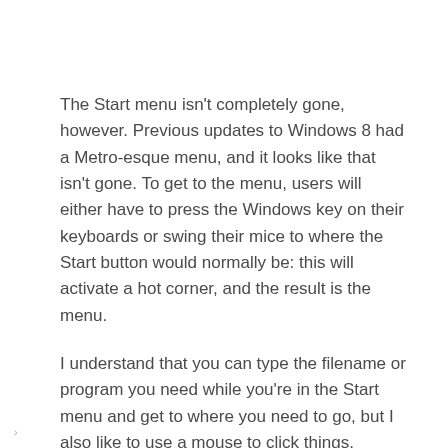The Start menu isn't completely gone, however. Previous updates to Windows 8 had a Metro-esque menu, and it looks like that isn't gone. To get to the menu, users will either have to press the Windows key on their keyboards or swing their mice to where the Start button would normally be: this will activate a hot corner, and the result is the menu.
I understand that you can type the filename or program you need while you're in the Start menu and get to where you need to go, but I also like to use a mouse to click things. Typing is a lot less